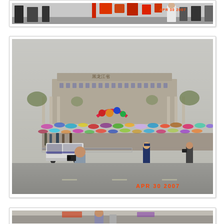[Figure (photo): Partial view of a photograph showing people holding colorful red and orange flags/banners at an outdoor event. A red timestamp 'APR 30 2007' is visible in the upper right corner.]
[Figure (photo): Large outdoor photograph of a wide plaza or boulevard in China. A large crowd of people holding umbrellas lines the street behind metal barriers. Police officers and officials stand in the foreground on the road. A white van is visible. In the background is a large government-style building with Chinese characters, flanked by columns and trees. Colorful balloons and a red arch decoration are visible. A photographer in the foreground takes pictures. A security officer in uniform stands in the mid-ground. Red timestamp 'APR 30 2007' visible in lower right.]
[Figure (photo): Partial bottom view of a third photograph showing an outdoor scene, cropped at the page edge.]